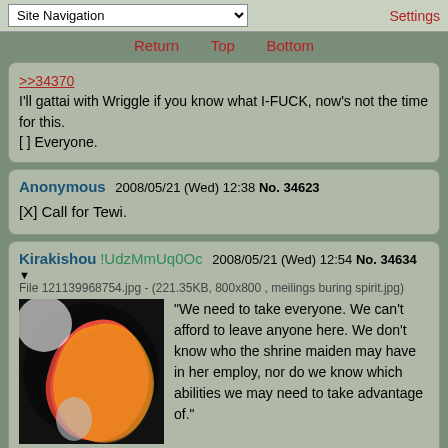Site Navigation | Settings
Return   Top   Bottom
>>34370
I'll gattai with Wriggle if you know what I-FUCK, now's not the time for this.
[ ] Everyone.
Anonymous   2008/05/21 (Wed) 12:38  No. 34623
[X] Call for Tewi.
Kirakishou !UdzMmUq0Oc 2008/05/21 (Wed) 12:54  No. 34634
▼
File 121139968754.jpg - (221.35KB, 800x800 , meilings buring spirit.jpg)
"We need to take everyone. We can't afford to leave anyone here. We don't know who the shrine maiden may have in her employ, nor do we know which abilities we may need to take advantage of."